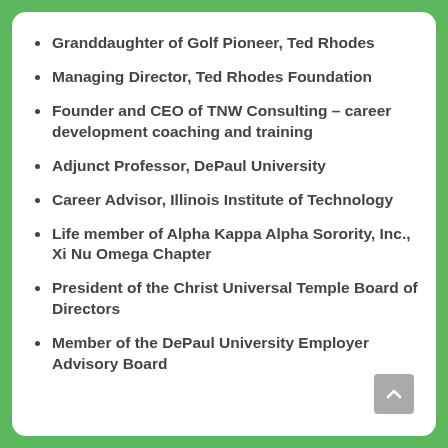Granddaughter of Golf Pioneer, Ted Rhodes
Managing Director, Ted Rhodes Foundation
Founder and CEO of TNW Consulting – career development coaching and training
Adjunct Professor, DePaul University
Career Advisor, Illinois Institute of Technology
Life member of Alpha Kappa Alpha Sorority, Inc., Xi Nu Omega Chapter
President of the Christ Universal Temple Board of Directors
Member of the DePaul University Employer Advisory Board